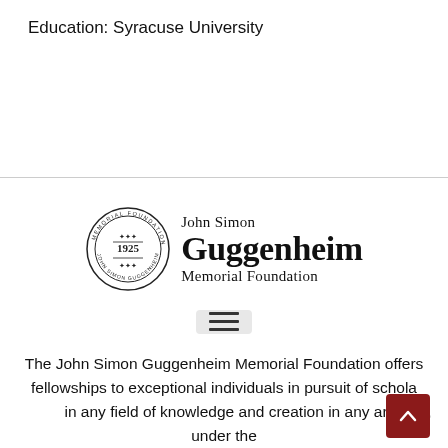Education: Syracuse University
[Figure (logo): John Simon Guggenheim Memorial Foundation logo with circular seal dated 1925]
[Figure (other): Hamburger menu icon (three horizontal lines)]
The John Simon Guggenheim Memorial Foundation offers fellowships to exceptional individuals in pursuit of scholarship in any field of knowledge and creation in any art form, under the